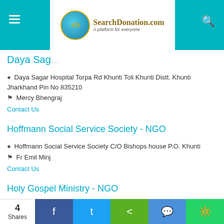SearchDonation.com - A platform for everyone
Daya Sagar...
📍 Daya Sagar Hospital Torpa Rd Khunti Toli Khunti Distt. Khunti Jharkhand Pin No 835210
👤 Mercy Bhengraj
Contact Us
Hoffmann Social Service Society - NGO
📍 Hoffmann Social Service Society C/O Bishops house P.O. Khunti
👤 Fr Emil Minj
Contact Us
Holy Gospel Ministry - NGO
4 Shares | Facebook | Twitter | Share | Messenger | WhatsApp